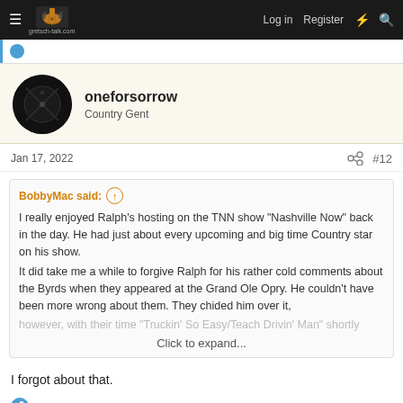gretsch-talk.com — Log in  Register
oneforsorrow
Country Gent
Jan 17, 2022  #12
BobbyMac said: ↑
I really enjoyed Ralph's hosting on the TNN show "Nashville Now" back in the day. He had just about every upcoming and big time Country star on his show.

It did take me a while to forgive Ralph for his rather cold comments about the Byrds when they appeared at the Grand Ole Opry. He couldn't have been more wrong about them. They chided him over it, however, with their time "Truckin' So Easy/Teach Drivin' Man" shortly
Click to expand...
I forgot about that.
Charles Conner